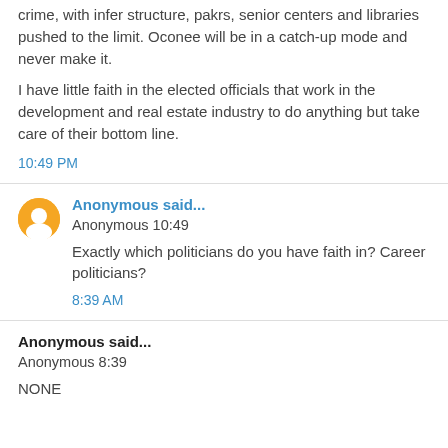crime, with infer structure, pakrs, senior centers and libraries pushed to the limit. Oconee will be in a catch-up mode and never make it.
I have little faith in the elected officials that work in the development and real estate industry to do anything but take care of their bottom line.
10:49 PM
Anonymous said...
Anonymous 10:49
Exactly which politicians do you have faith in? Career politicians?
8:39 AM
Anonymous said...
Anonymous 8:39
NONE